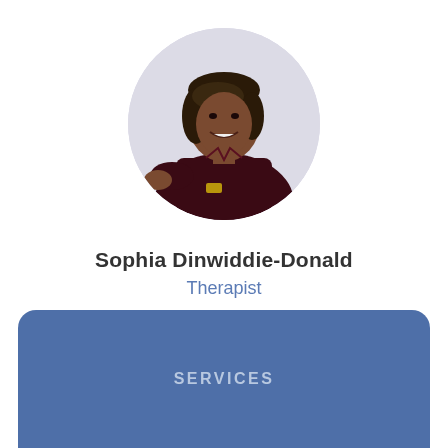[Figure (photo): Circular portrait photo of Sophia Dinwiddie-Donald, a woman wearing a dark maroon/burgundy outfit, smiling, with short brown hair, against a light background.]
Sophia Dinwiddie-Donald
Therapist
SERVICES